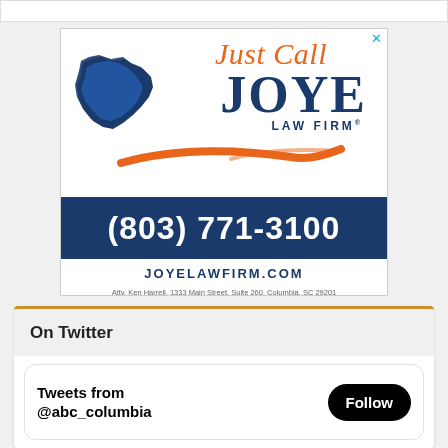[Figure (illustration): Joye Law Firm advertisement with orange 'Just Call' italic text, large blue JOYE text, South Carolina state map silhouette in blue, orange swoop graphic, LAW FIRM registered trademark, blue phone bar with (803) 771-3100, JOYELAWFIRM.COM website, and attorney disclaimer text. Close X button in top right.]
Atty. Ken Harrell, 1333 Main Street, Suite 260, Columbia, SC 29201
On Twitter
Tweets from @abc_columbia
Follow